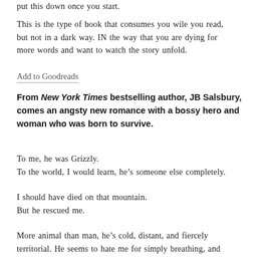put this down once you start.
This is the type of book that consumes you wile you read, but not in a dark way. IN the way that you are dying for more words and want to watch the story unfold.
Add to Goodreads
From New York Times bestselling author, JB Salsbury, comes an angsty new romance with a bossy hero and woman who was born to survive.
To me, he was Grizzly.
To the world, I would learn, he’s someone else completely.
I should have died on that mountain.
But he rescued me.
More animal than man, he’s cold, distant, and fiercely territorial. He seems to hate me for simply breathing, and